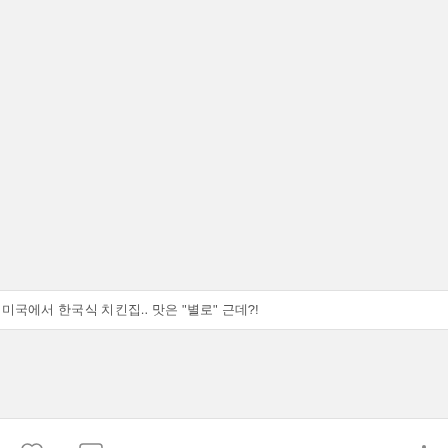[Figure (other): Large gray placeholder image area at the top of the post]
미국에서 한국식 치킨집.. 맛은 "별로" 근데?!
[Figure (other): Gray placeholder image area below the title]
♡ 0   💬 0